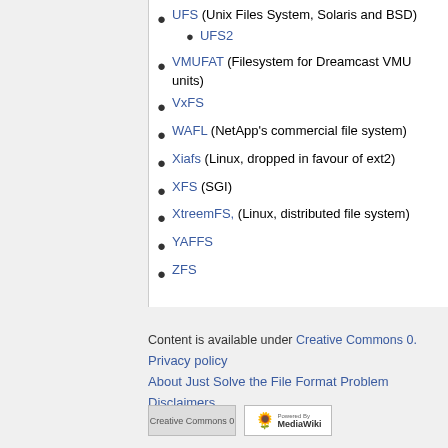UFS (Unix Files System, Solaris and BSD)
UFS2
VMUFAT (Filesystem for Dreamcast VMU units)
VxFS
WAFL (NetApp's commercial file system)
Xiafs (Linux, dropped in favour of ext2)
XFS (SGI)
XtreemFS, (Linux, distributed file system)
YAFFS
ZFS
Content is available under Creative Commons 0.
Privacy policy
About Just Solve the File Format Problem
Disclaimers